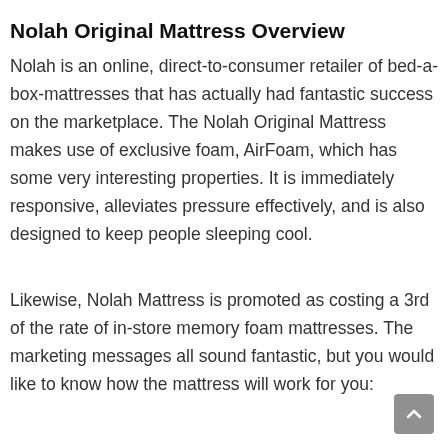Nolah Original Mattress Overview
Nolah is an online, direct-to-consumer retailer of bed-a-box-mattresses that has actually had fantastic success on the marketplace. The Nolah Original Mattress makes use of exclusive foam, AirFoam, which has some very interesting properties. It is immediately responsive, alleviates pressure effectively, and is also designed to keep people sleeping cool.
Likewise, Nolah Mattress is promoted as costing a 3rd of the rate of in-store memory foam mattresses. The marketing messages all sound fantastic, but you would like to know how the mattress will work for you: